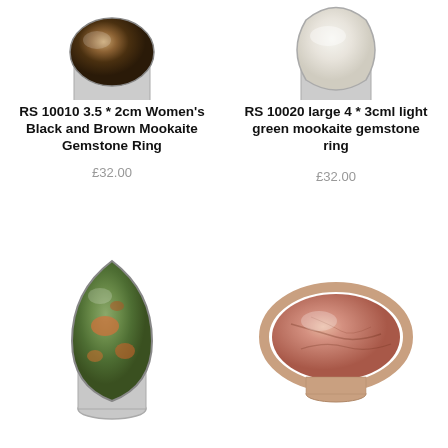[Figure (photo): Top-left: partial view of a black and brown mookaite gemstone ring with silver band, cropped at top]
RS 10010 3.5 * 2cm Women's Black and Brown Mookaite Gemstone Ring
£32.00
[Figure (photo): Top-right: partial view of a light green mookaite gemstone ring, white/cream stone with silver band, cropped at top]
RS 10020 large 4 * 3cml light green mookaite gemstone ring
£32.00
[Figure (photo): Bottom-left: green and orange unakite gemstone ring, teardrop shaped stone in silver setting]
[Figure (photo): Bottom-right: pink/peach oval agate gemstone ring in rose gold/silver setting]